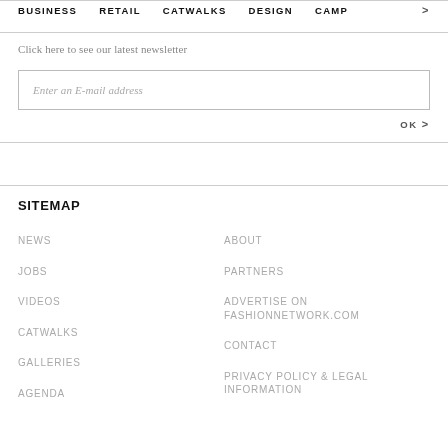BUSINESS   RETAIL   CATWALKS   DESIGN   CAMP >
Click here to see our latest newsletter
Enter an E-mail address
OK >
SITEMAP
NEWS
JOBS
VIDEOS
CATWALKS
GALLERIES
AGENDA
ABOUT
PARTNERS
ADVERTISE ON FASHIONNETWORK.COM
CONTACT
PRIVACY POLICY & LEGAL INFORMATION